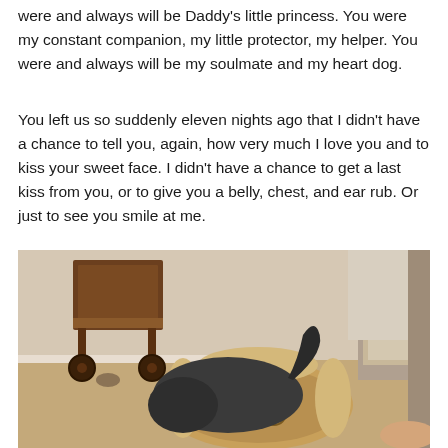were and always will be Daddy's little princess. You were my constant companion, my little protector, my helper. You were and always will be my soulmate and my heart dog.
You left us so suddenly eleven nights ago that I didn't have a chance to tell you, again, how very much I love you and to kiss your sweet face. I didn't have a chance to get a last kiss from you, or to give you a belly, chest, and ear rub. Or just to see you smile at me.
[Figure (photo): A dog (appears to be a dark/grey dog) lying in or near a patterned pet bed on a hardwood floor. In the background there is a wooden cart/trolley with wheels, and what appears to be a chair or furniture piece on the right side of the image.]